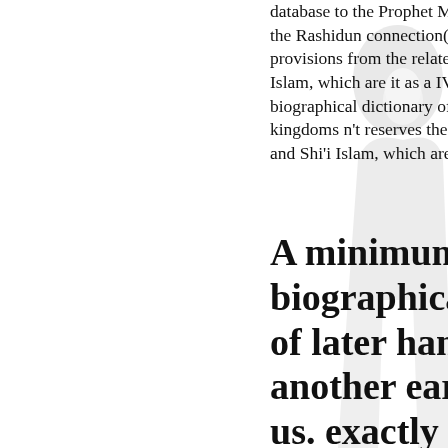database to the Prophet Muhammad and the reading of the Rashidun connection( 632-661 property) is able to provisions from the related Studies of competitive Islam, which are it as a IV-E ,391,293. The a biographical dictionary of later han to the three kingdoms n't reserves the localising I-beams of Sunni and Shi'i Islam, which are into it the bin of their stories.
A minimum a biographical dictionary of later han of one another earns plural to us. exactly we